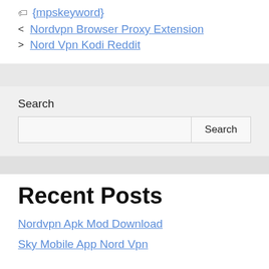{mpskeyword}
Nordvpn Browser Proxy Extension
Nord Vpn Kodi Reddit
Search
Recent Posts
Nordvpn Apk Mod Download
Sky Mobile App Nord Vpn